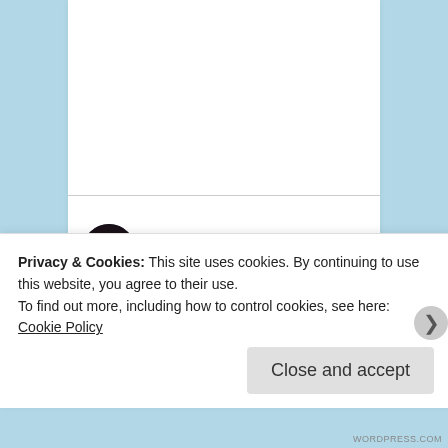[Figure (illustration): Circular avatar photo of user itsmayurremember, showing a person with dark background]
itsmayurremember
April 1, 2015 at 10:05 am
Loved the letter Sabina!
I'm really sorry about your friend's untimely demise.
Which application essay was this for?
★ Liked by 1 person
Privacy & Cookies: This site uses cookies. By continuing to use this website, you agree to their use.
To find out more, including how to control cookies, see here: Cookie Policy
Close and accept